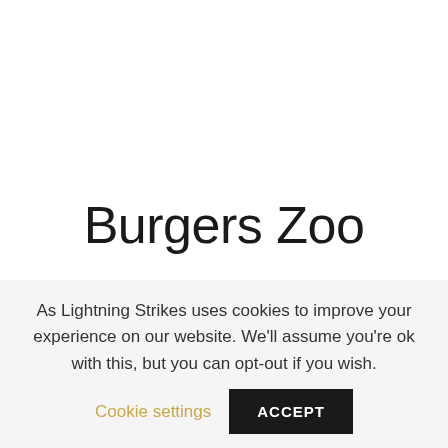Burgers Zoo
With the holidays in the Netherlands over, Burgers Zoo in Arnhem was a very quiet and nice day out. The zoo is bigger than
As Lightning Strikes uses cookies to improve your experience on our website. We'll assume you're ok with this, but you can opt-out if you wish. Cookie settings ACCEPT